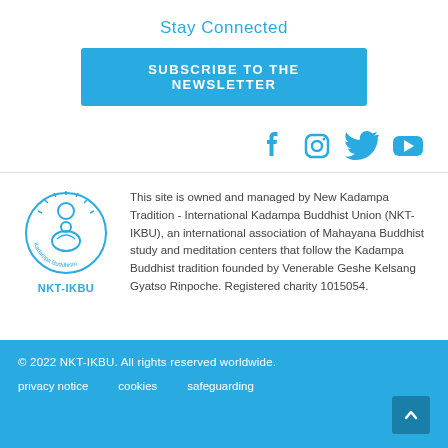Stay Connected
SUBSCRIBE TO THE NEWSLETTER
[Figure (illustration): Social media icons: Facebook, Instagram, Twitter, YouTube in blue]
[Figure (logo): NKT-IKBU Kadampa Buddhism circular logo with sun and figure, labelled NKT-IKBU below]
This site is owned and managed by New Kadampa Tradition - International Kadampa Buddhist Union (NKT-IKBU), an international association of Mahayana Buddhist study and meditation centers that follow the Kadampa Buddhist tradition founded by Venerable Geshe Kelsang Gyatso Rinpoche. Registered charity 1015054.
© 2022 NKT-IKBU. All rights reserved worldwide.
privacy notice   cookies   safeguarding